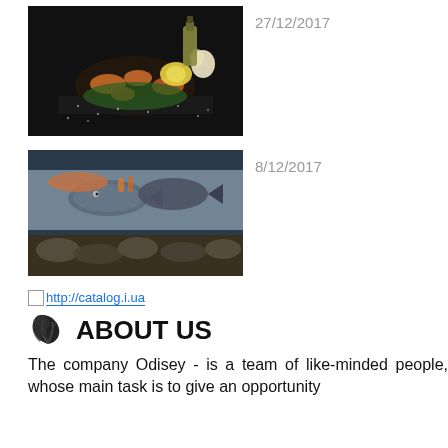[Figure (photo): Photo of seafood dish with shrimp, lemon, garlic and olive oil bottle on dark background with salt]
27/12/2017
[Figure (photo): Photo of fresh fish and seafood on ice at a market display, including oysters and various fish]
8/12/2017
http://catalog.i.ua
ABOUT US
The company Odisey - is a team of like-minded people, whose main task is to give an opportunity...